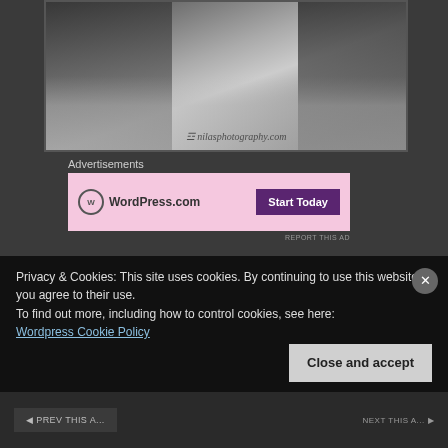[Figure (photo): Black and white photograph of a narrow cobblestone street with buildings on either side, watermarked with nilasphotography.com]
Advertisements
[Figure (screenshot): WordPress.com advertisement banner with pink background, WordPress logo and 'Start Today' button]
REPORT THIS AD
In contrast to many opulent churches in Italy, the church of San Nicola di Bari is unadorned and...
Privacy & Cookies: This site uses cookies. By continuing to use this website, you agree to their use.
To find out more, including how to control cookies, see here:
Wordpress Cookie Policy
Close and accept